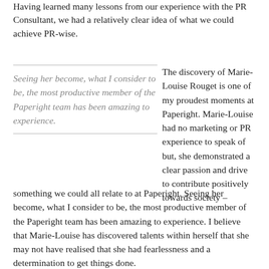Having learned many lessons from our experience with the PR Consultant, we had a relatively clear idea of what we could achieve PR-wise.
Seeing her become, what I consider to be, the most productive member of the Paperight team has been amazing to experience.
The discovery of Marie-Louise Rouget is one of my proudest moments at Paperight. Marie-Louise had no marketing or PR experience to speak of but, she demonstrated a clear passion and drive to contribute positively towards society – something we could all relate to at Paperight. Seeing her become, what I consider to be, the most productive member of the Paperight team has been amazing to experience. I believe that Marie-Louise has discovered talents within herself that she may not have realised that she had fearlessness and a determination to get things done.